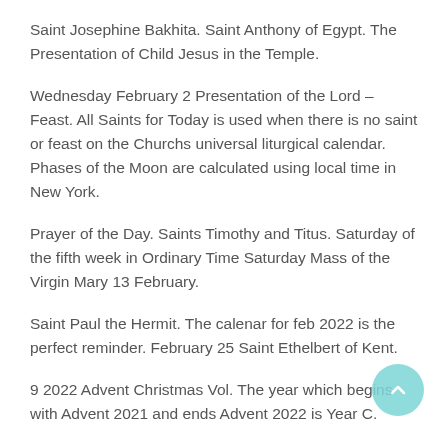Saint Josephine Bakhita. Saint Anthony of Egypt. The Presentation of Child Jesus in the Temple.
Wednesday February 2 Presentation of the Lord – Feast. All Saints for Today is used when there is no saint or feast on the Churchs universal liturgical calendar. Phases of the Moon are calculated using local time in New York.
Prayer of the Day. Saints Timothy and Titus. Saturday of the fifth week in Ordinary Time Saturday Mass of the Virgin Mary 13 February.
Saint Paul the Hermit. The calenar for feb 2022 is the perfect reminder. February 25 Saint Ethelbert of Kent.
9 2022 Advent Christmas Vol. The year which begins with Advent 2021 and ends Advent 2022 is Year C.